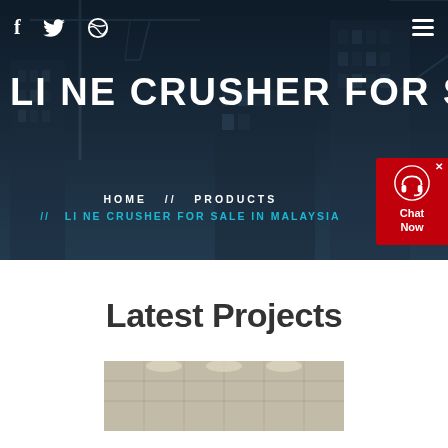[Figure (photo): Hero banner showing construction cranes and city buildings at night with dark blue overlay. Social media icons (f, twitter bird, dribbble) on top left. Hamburger menu icon on top right.]
LI NE CRUSHER FOR SALE IN MA
HOME  //  PRODUCTS  //  LI NE CRUSHER FOR SALE IN MALAYSIA
[Figure (infographic): Red chat widget on right side with headset icon and Chat Now text]
Latest Projects
[Figure (photo): Construction/industrial interior photo at bottom of page]